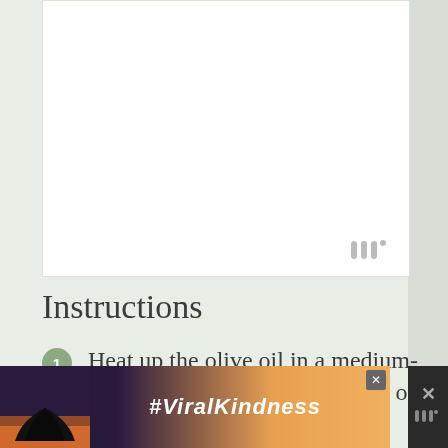[Figure (photo): White rectangular image area placeholder (photo content not visible)]
Instructions
Heat up the olive oil in a medium-sized saucepan. When the olive oil is hot
[Figure (photo): Advertisement banner showing silhouette of hands forming a heart shape against a sunset sky, with text #ViralKindness]